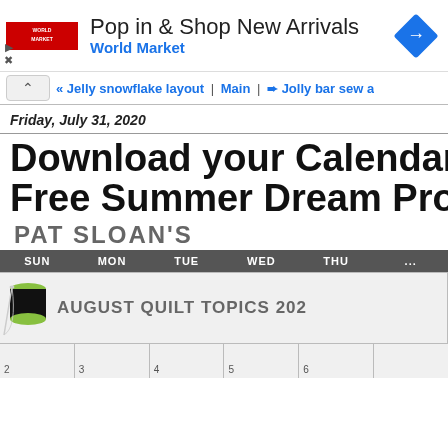[Figure (screenshot): World Market advertisement banner with logo, headline 'Pop in & Shop New Arrivals', subline 'World Market', and a blue diamond navigation icon]
« Jelly snowflake layout | Main | Jolly bar sew a
Friday, July 31, 2020
Download your Calendar, Mo Free Summer Dream Project
[Figure (screenshot): Pat Sloan's August Quilt Topics 2020 calendar showing days SUN MON TUE WED THU and calendar cells with thread spool graphic and dates 2 3 4 5 6]